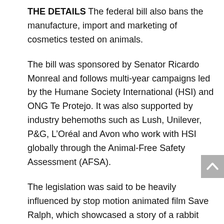THE DETAILS The federal bill also bans the manufacture, import and marketing of cosmetics tested on animals.
The bill was sponsored by Senator Ricardo Monreal and follows multi-year campaigns led by the Humane Society International (HSI) and ONG Te Protejo. It was also supported by industry behemoths such as Lush, Unilever, P&G, L'Oréal and Avon who work with HSI globally through the Animal-Free Safety Assessment (AFSA).
The legislation was said to be heavily influenced by stop motion animated film Save Ralph, which showcased a story of a rabbit 'tester'.
THE WHY? Animal testing bans have now been